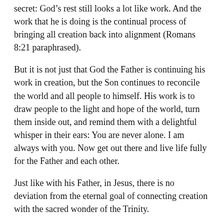secret: God's rest still looks a lot like work. And the work that he is doing is the continual process of bringing all creation back into alignment (Romans 8:21 paraphrased).
But it is not just that God the Father is continuing his work in creation, but the Son continues to reconcile the world and all people to himself. His work is to draw people to the light and hope of the world, turn them inside out, and remind them with a delightful whisper in their ears: You are never alone. I am always with you. Now get out there and live life fully for the Father and each other.
Just like with his Father, in Jesus, there is no deviation from the eternal goal of connecting creation with the sacred wonder of the Trinity.
God's peace to you as you wander in wonder through